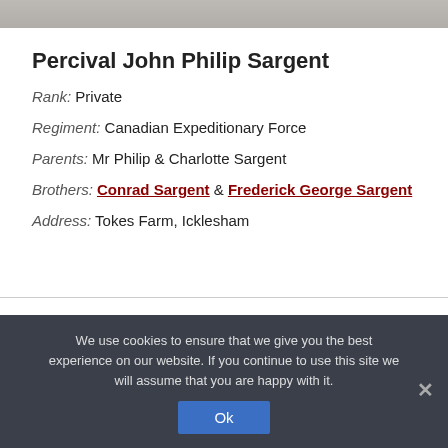[Figure (photo): Top strip showing a faded historical or landscape image]
Percival John Philip Sargent
Rank: Private
Regiment: Canadian Expeditionary Force
Parents: Mr Philip & Charlotte Sargent
Brothers: Conrad Sargent & Frederick George Sargent
Address: Tokes Farm, Icklesham
We use cookies to ensure that we give you the best experience on our website. If you continue to use this site we will assume that you are happy with it.